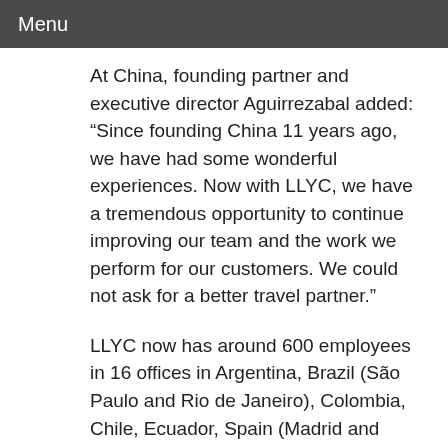Menu
At China, founding partner and executive director Aguirrezabal added: “Since founding China 11 years ago, we have had some wonderful experiences. Now with LLYC, we have a tremendous opportunity to continue improving our team and the work we perform for our customers. We could not ask for a better travel partner.”
LLYC now has around 600 employees in 16 offices in Argentina, Brazil (São Paulo and Rio de Janeiro), Colombia, Chile, Ecuador, Spain (Madrid and Barcelona), the US (Miami, New York and Washington, DC), Mexico, Panama, Peru, Portugal and the Dominican Republic. Headliners to include Banco FC Pencil